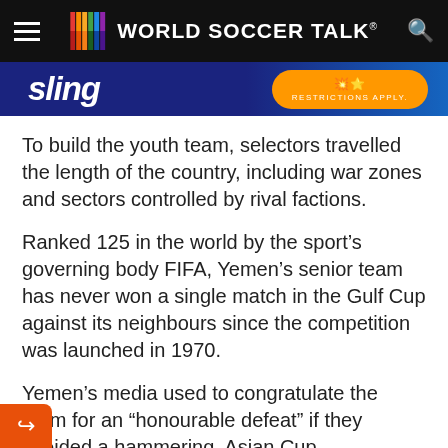WORLD SOCCER TALK
[Figure (screenshot): Sling TV advertisement banner with blue background, 'sling' text in white italic and an orange CTA button with 'RESTRICTIONS APPLY.']
To build the youth team, selectors travelled the length of the country, including war zones and sectors controlled by rival factions.
Ranked 125 in the world by the sport’s governing body FIFA, Yemen’s senior team has never won a single match in the Gulf Cup against its neighbours since the competition was launched in 1970.
Yemen’s media used to congratulate the team for an “honourable defeat” if they avoided a hammering. Asian Cup qualification was hailed as nothing less than a “miracle”.